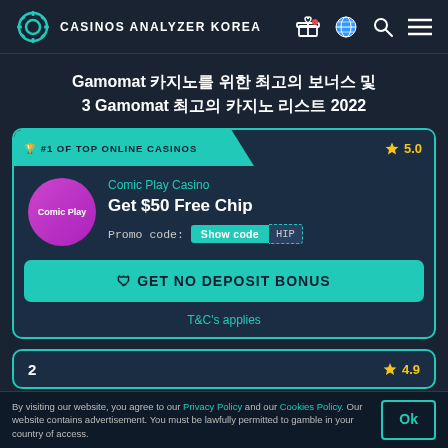CASINOS ANALYZER KOREA
Gamomat 카지노를 위한 최고의 보너스 및 3 Gamomat 최고의 카지노 리스트 2022
🏆 #1 OF TOP ONLINE CASINOS  ★ 5.0
Comic Play Casino
Get $50 Free Chip
Promo code:  Show code  HIP
🛡 GET NO DEPOSIT BONUS
T&C's applies
2  ★ 4.9
By visiting our website, you agree to our Privacy Policy and our Cookies Policy. Our website contains advertisement. You must be lawfully permitted to gamble in your country of access.